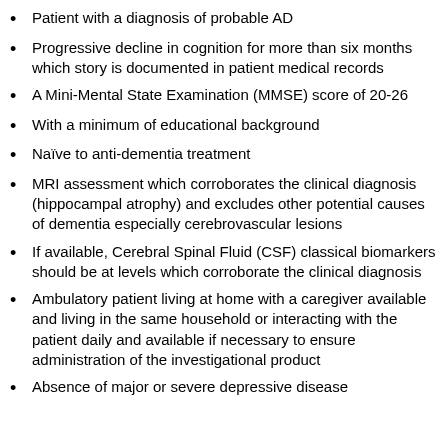Patient with a diagnosis of probable AD
Progressive decline in cognition for more than six months which story is documented in patient medical records
A Mini-Mental State Examination (MMSE) score of 20-26
With a minimum of educational background
Naïve to anti-dementia treatment
MRI assessment which corroborates the clinical diagnosis (hippocampal atrophy) and excludes other potential causes of dementia especially cerebrovascular lesions
If available, Cerebral Spinal Fluid (CSF) classical biomarkers should be at levels which corroborate the clinical diagnosis
Ambulatory patient living at home with a caregiver available and living in the same household or interacting with the patient daily and available if necessary to ensure administration of the investigational product
Absence of major or severe depressive disease